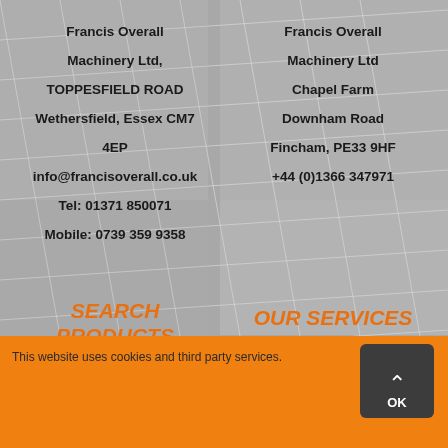Francis Overall Machinery Ltd,
TOPPESFIELD ROAD
Wethersfield, Essex CM7 4EP
info@francisoverall.co.uk
Tel: 01371 850071
Mobile: 0739 359 9358
Francis Overall Machinery Ltd
Chapel Farm
Downham Road
Fincham, PE33 9HF
+44 (0)1366 347971
SEARCH PRODUCTS
OUR SERVICES
This website uses cookies and third party services.